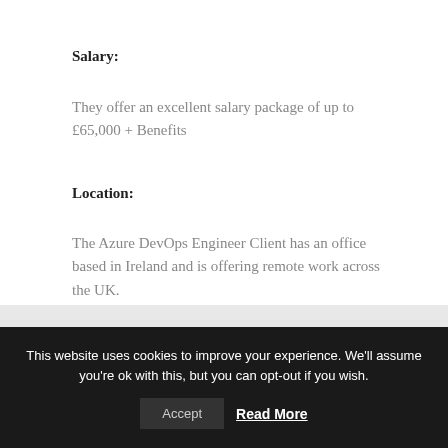Salary:
They offer an excellent salary package of up to £65,000 + Benefits
Location:
The Azure DevOps Engineer Client has an office based in Ireland and is offering remote work across the UK.
This website uses cookies to improve your experience. We'll assume you're ok with this, but you can opt-out if you wish.